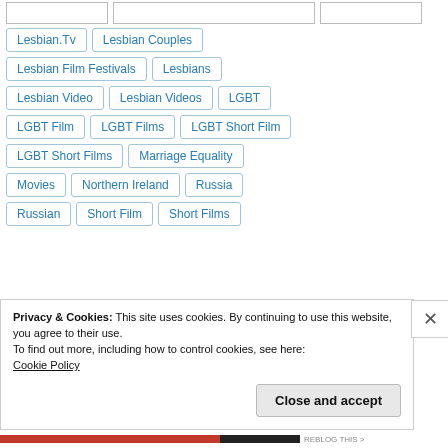Lesbian.Tv
Lesbian Couples
Lesbian Film Festivals
Lesbians
Lesbian Video
Lesbian Videos
LGBT
LGBT Film
LGBT Films
LGBT Short Film
LGBT Short Films
Marriage Equality
Movies
Northern Ireland
Russia
Russian
Short Film
Short Films
Privacy & Cookies: This site uses cookies. By continuing to use this website, you agree to their use. To find out more, including how to control cookies, see here: Cookie Policy
Close and accept